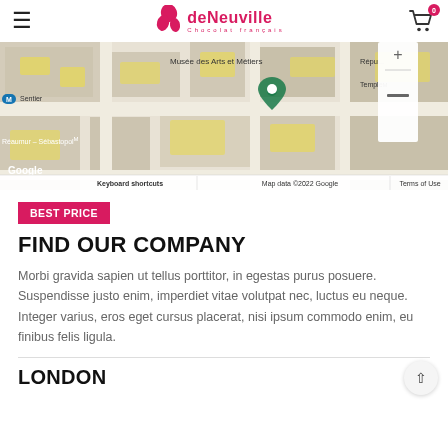deNeuville Chocolat français
[Figure (map): Google Maps screenshot showing area around Musée des Arts et Métiers, with labels: Sentier (M), Musée des Arts et Métiers, Répu (République), Temple(M), Réaumur – Sébastopol(M), Google, Keyboard shortcuts, Map data ©2022 Google, Terms of Use]
BEST PRICE
FIND OUR COMPANY
Morbi gravida sapien ut tellus porttitor, in egestas purus posuere. Suspendisse justo enim, imperdiet vitae volutpat nec, luctus eu neque. Integer varius, eros eget cursus placerat, nisi ipsum commodo enim, eu finibus felis ligula.
LONDON